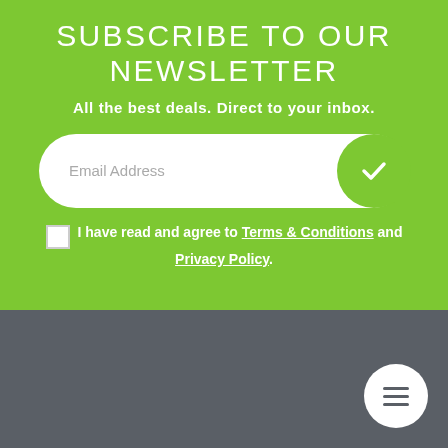SUBSCRIBE TO OUR NEWSLETTER
All the best deals. Direct to your inbox.
Email Address
I have read and agree to Terms & Conditions and Privacy Policy.